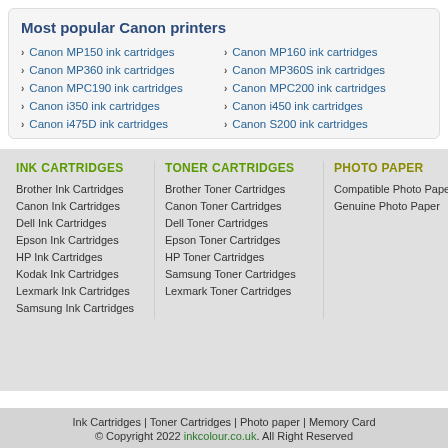Most popular Canon printers
Canon MP150 ink cartridges
Canon MP160 ink cartridges
Canon MP360 ink cartridges
Canon MP360S ink cartridges
Canon MPC190 ink cartridges
Canon MPC200 ink cartridges
Canon i350 ink cartridges
Canon i450 ink cartridges
Canon i475D ink cartridges
Canon S200 ink cartridges
INK CARTRIDGES
Brother Ink Cartridges
Canon Ink Cartridges
Dell Ink Cartridges
Epson Ink Cartridges
HP Ink Cartridges
Kodak Ink Cartridges
Lexmark Ink Cartridges
Samsung Ink Cartridges
TONER CARTRIDGES
Brother Toner Cartridges
Canon Toner Cartridges
Dell Toner Cartridges
Epson Toner Cartridges
HP Toner Cartridges
Samsung Toner Cartridges
Lexmark Toner Cartridges
PHOTO PAPER
Compatible Photo Paper
Genuine Photo Paper
Ink Cartridges | Toner Cartridges | Photo paper | Memory Card
© Copyright 2022 inkcolour.co.uk. All Right Reserved